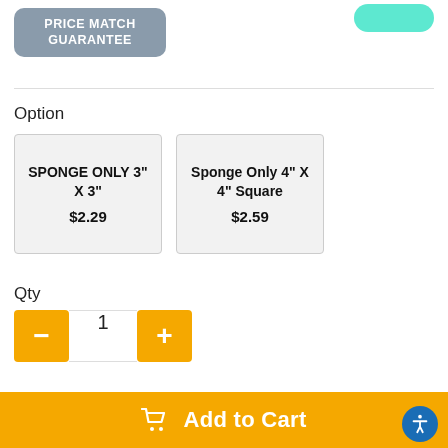[Figure (logo): Price Match Guarantee badge, grey rounded rectangle with white bold uppercase text]
Option
| SPONGE ONLY 3" X 3"
$2.29 | Sponge Only 4" X 4" Square
$2.59 |
Qty
1
Add to Cart
Add to Cart